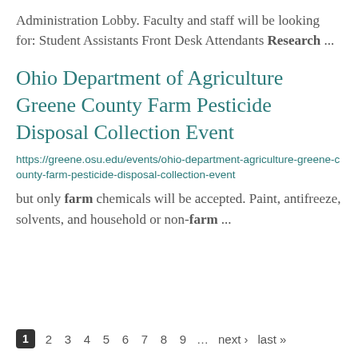Administration Lobby.  Faculty and staff will be looking for:  Student Assistants Front Desk Attendants Research ...
Ohio Department of Agriculture Greene County Farm Pesticide Disposal Collection Event
https://greene.osu.edu/events/ohio-department-agriculture-greene-county-farm-pesticide-disposal-collection-event
but only farm chemicals will be accepted. Paint, antifreeze, solvents, and household or non-farm ...
1  2  3  4  5  6  7  8  9  …  next ›  last »